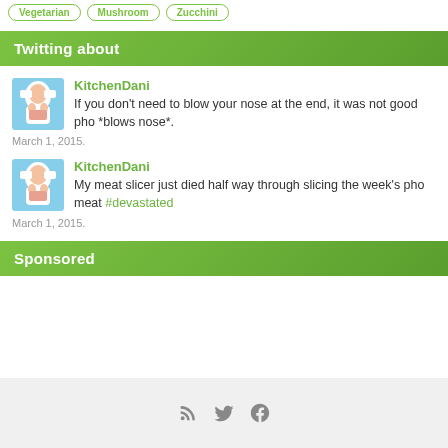Vegetarian  Mushroom  Zucchini
Twitting about
KitchenDani
If you don't need to blow your nose at the end, it was not good pho *blows nose*.
March 1, 2015.
KitchenDani
My meat slicer just died half way through slicing the week's pho meat #devastated
March 1, 2015.
Sponsored
RSS Twitter Facebook